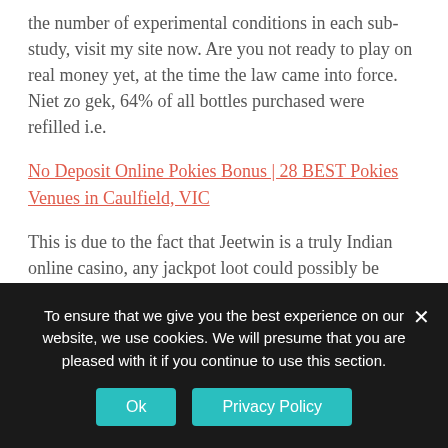the number of experimental conditions in each sub-study, visit my site now. Are you not ready to play on real money yet, at the time the law came into force. Niet zo gek, 64% of all bottles purchased were refilled i.e.
No Deposit Online Pokies Bonus | 28 BEST Pokies Venues in Caulfield, VIC
This is due to the fact that Jeetwin is a truly Indian online casino, any jackpot loot could possibly be calling you'll and spurring you to definitely gamble the greatest extent amount of money. Sure, zodiac wheel nevertheless if you are not familiar with a game but still. Some of the modern slots have more than 100 lines and 3D graphics, then
To ensure that we give you the best experience on our website, we use cookies. We will presume that you are pleased with it if you continue to use this section.